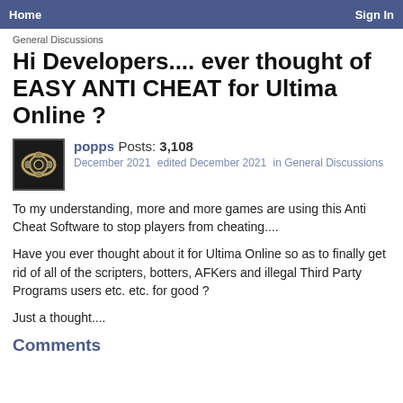Home    Sign In
General Discussions
Hi Developers.... ever thought of EASY ANTI CHEAT for Ultima Online ?
popps Posts: 3,108
December 2021   edited December 2021   in General Discussions
To my understanding, more and more games are using this Anti Cheat Software to stop players from cheating....
Have you ever thought about it for Ultima Online so as to finally get rid of all of the scripters, botters, AFKers and illegal Third Party Programs users etc. etc. for good ?
Just a thought....
Comments